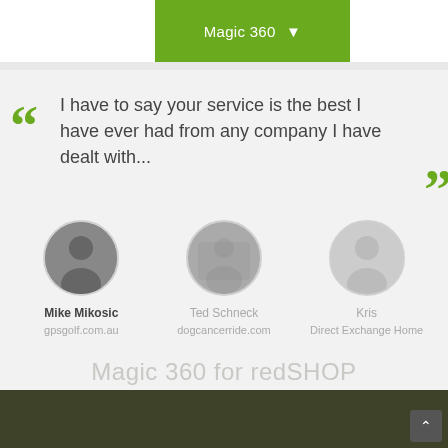Magic 360 ▼
I have to say your service is the best I have ever had from any company I have dealt with...
[Figure (photo): Circular avatar photo of Mike Mikosic, dark grey silhouette]
Mike Mikosic
gpsgolf.com.au
[Figure (photo): Circular avatar photo of Ted Schneck, outdoor/nature scene]
Ted Schneck
dogcancerride.com
[Figure (photo): Circular avatar photo of Kris, light grey silhouette]
Kris
Direct Exchange Home
Magic 360 for redSHOP